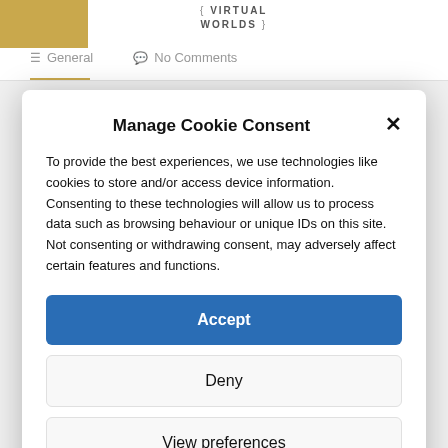VIRTUAL WORLDS
General   No Comments
Manage Cookie Consent
To provide the best experiences, we use technologies like cookies to store and/or access device information. Consenting to these technologies will allow us to process data such as browsing behaviour or unique IDs on this site. Not consenting or withdrawing consent, may adversely affect certain features and functions.
Accept
Deny
View preferences
Cookie Policy